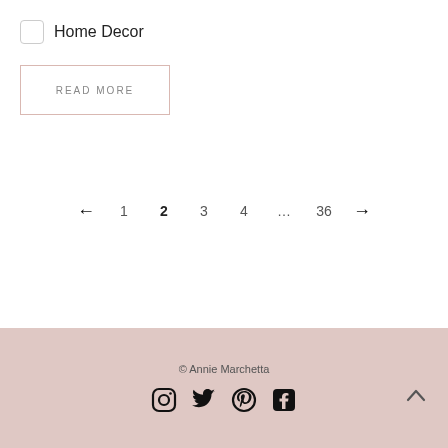Home Decor
READ MORE
← 1 2 3 4 … 36 →
© Annie Marchetta